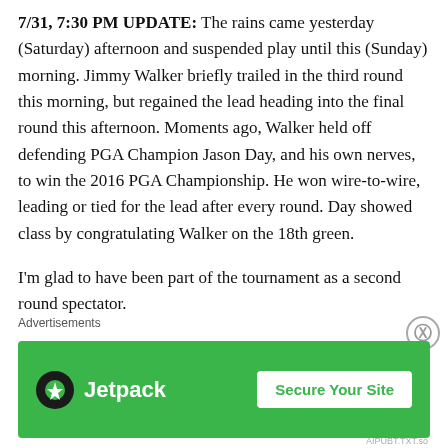7/31, 7:30 PM UPDATE: The rains came yesterday (Saturday) afternoon and suspended play until this (Sunday) morning. Jimmy Walker briefly trailed in the third round this morning, but regained the lead heading into the final round this afternoon. Moments ago, Walker held off defending PGA Champion Jason Day, and his own nerves, to win the 2016 PGA Championship. He won wire-to-wire, leading or tied for the lead after every round. Day showed class by congratulating Walker on the 18th green.
I'm glad to have been part of the tournament as a second round spectator.
7/31, 8:41 PM UPDATE: Post-championship links:
Advertisements
[Figure (other): Jetpack advertisement banner with green background, Jetpack logo and brand name on left, and 'Secure Your Site' button on right.]